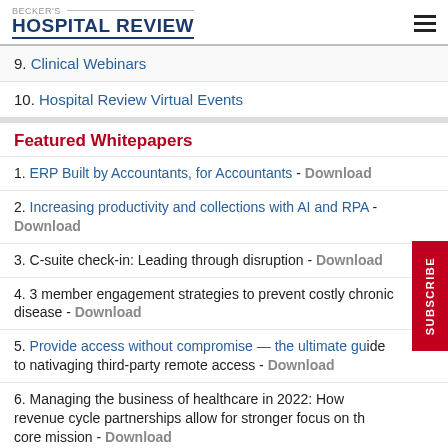BECKER'S HOSPITAL REVIEW
9. Clinical Webinars
10. Hospital Review Virtual Events
Featured Whitepapers
1. ERP Built by Accountants, for Accountants - Download
2. Increasing productivity and collections with AI and RPA - Download
3. C-suite check-in: Leading through disruption - Download
4. 3 member engagement strategies to prevent costly chronic disease - Download
5. Provide access without compromise — the ultimate guide to nativaging third-party remote access - Download
6. Managing the business of healthcare in 2022: How revenue cycle partnerships allow for stronger focus on the core mission - Download
7. Supercharge eligibility and estimates with a better payer